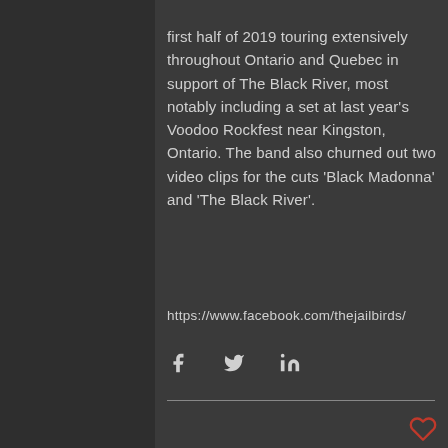first half of 2019 touring extensively throughout Ontario and Quebec in support of The Black River, most notably including a set at last year's Voodoo Rockfest near Kingston, Ontario. The band also churned out two video clips for the cuts 'Black Madonna' and 'The Black River'.
https://www.facebook.com/thejailbirds/
[Figure (infographic): Social sharing icons: Facebook (f), Twitter (bird), LinkedIn (in)]
[Figure (infographic): Heart/like icon in red outline style]